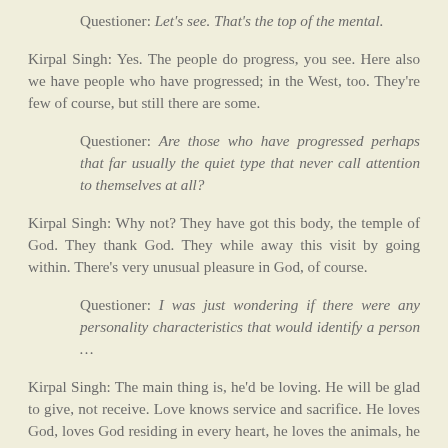Questioner: Let's see. That's the top of the mental.
Kirpal Singh: Yes. The people do progress, you see. Here also we have people who have progressed; in the West, too. They're few of course, but still there are some.
Questioner: Are those who have progressed perhaps that far usually the quiet type that never call attention to themselves at all?
Kirpal Singh: Why not? They have got this body, the temple of God. They thank God. They while away this visit by going within. There's very unusual pleasure in God, of course.
Questioner: I was just wondering if there were any personality characteristics that would identify a person …
Kirpal Singh: The main thing is, he'd be loving. He will be glad to give, not receive. Love knows service and sacrifice. He loves God, loves God residing in every heart, he loves the animals, he loves the snakes, he loves the